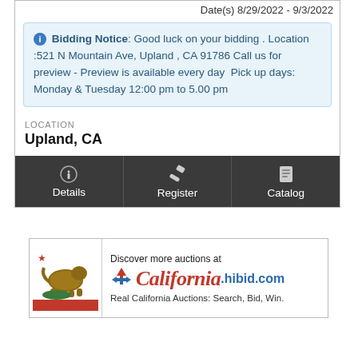Date(s) 8/29/2022 - 9/3/2022
Bidding Notice: Good luck on your bidding . Location :521 N Mountain Ave, Upland , CA 91786 Call us for preview - Preview is available every day  Pick up days: Monday & Tuesday 12:00 pm to 5.00 pm
LOCATION
Upland, CA
Details
Register
Catalog
[Figure (infographic): California Hibid.com advertisement banner with California Republic flag logo on left and text: Discover more auctions at California.hibid.com - Real California Auctions: Search, Bid, Win.]